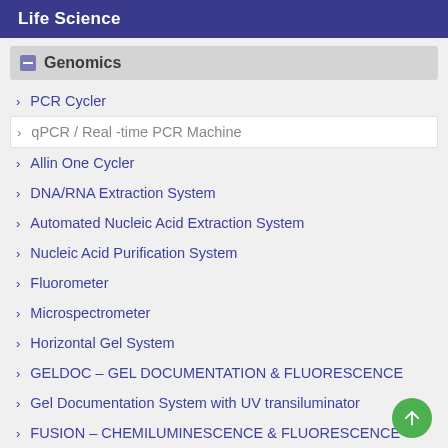Life Science
Genomics
PCR Cycler
qPCR / Real -time PCR Machine
Allin One Cycler
DNA/RNA Extraction System
Automated Nucleic Acid Extraction System
Nucleic Acid Purification System
Fluorometer
Microspectrometer
Horizontal Gel System
GELDOC – GEL DOCUMENTATION & FLUORESCENCE
Gel Documentation System with UV transiluminator
FUSION – CHEMILUMINESCENCE & FLUORESCENCE
Compact UV Transilluminator
Bluelight LED Transiluminator
Spectrophotometer